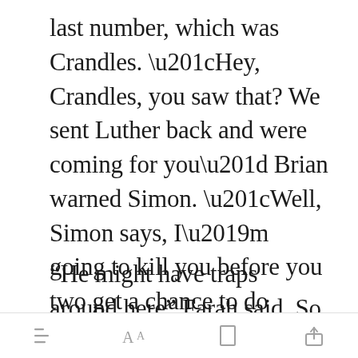last number, which was Crandles. “Hey, Crandles, you saw that? We sent Luther back and were coming for you” Brian warned Simon. “Well, Simon says, I’m going to kill you before you two get a chance to do so” he said, and hung up.
“He might have traps around here” Farah said. So they proceeded down the path, watc[Open in app]traps. Brian
Open in app toolbar icons